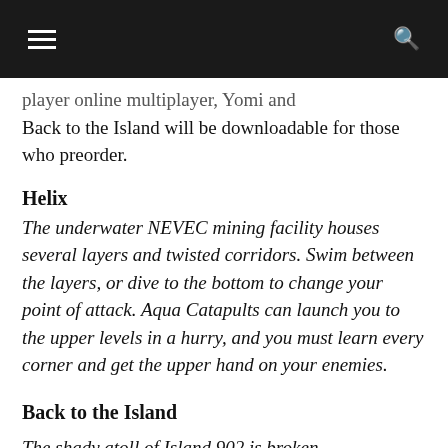≡  🔍
player online multiplayer, Yomi and Back to the Island will be downloadable for those who preorder.
Helix
The underwater NEVEC mining facility houses several layers and twisted corridors. Swim between the layers, or dive to the bottom to change your point of attack. Aqua Catapults can launch you to the upper levels in a hurry, and you must learn every corner and get the upper hand on your enemies.
Back to the Island
The shady atoll of Island 902 is broken